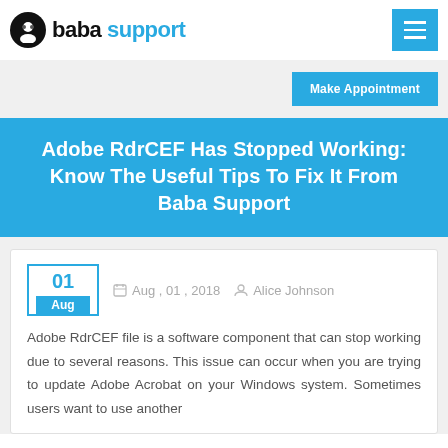baba support
Adobe RdrCEF Has Stopped Working: Know The Useful Tips To Fix It From Baba Support
Aug , 01 , 2018  Alice Johnson
Adobe RdrCEF file is a software component that can stop working due to several reasons. This issue can occur when you are trying to update Adobe Acrobat on your Windows system. Sometimes users want to use another